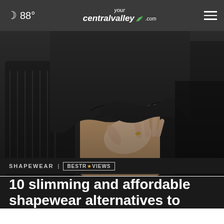🌙 88° | yourcentralvalley.com ☰
[Figure (photo): Close-up photo of a person's midsection wearing a black garment, appearing to pinch or lift the fabric, with a beige/tan background]
SHAPEWEAR | BESTREVIEWS
10 slimming and affordable shapewear alternatives to...